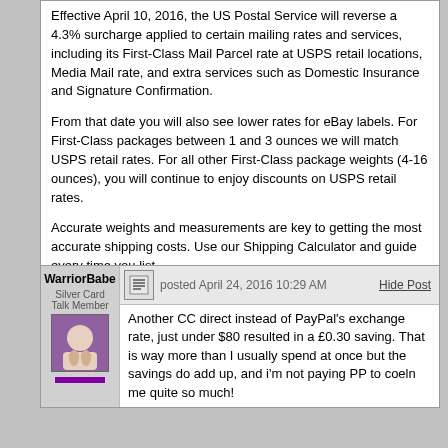Effective April 10, 2016, the US Postal Service will reverse a 4.3% surcharge applied to certain mailing rates and services, including its First-Class Mail Parcel rate at USPS retail locations, Media Mail rate, and extra services such as Domestic Insurance and Signature Confirmation.
From that date you will also see lower rates for eBay labels. For First-Class packages between 1 and 3 ounces we will match USPS retail rates. For all other First-Class package weights (4-16 ounces), you will continue to enjoy discounts on USPS retail rates.
Accurate weights and measurements are key to getting the most accurate shipping costs. Use our Shipping Calculator and guide every time you list.
- See more at:
http://announcements.ebay.com/...sthash.B6Rr9tmV.dpuf
Today is a Good Day to Buy!
Posts: 692 | Location: Columbus, OH | Registered: April 14, 2015
WarriorBabe
Silver Card Talk Member
posted April 24, 2016 10:29 AM
Hide Post
Another CC direct instead of PayPal's exchange rate, just under $80 resulted in a £0.30 saving. That is way more than I usually spend at once but the savings do add up, and i'm not paying PP to coeln me quite so much!